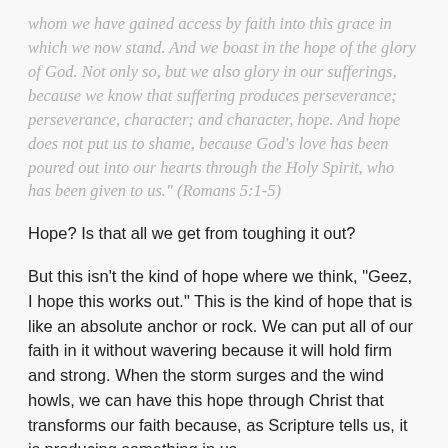whom we have gained access by faith into this grace in which we now stand. And we boast in the hope of the glory of God. Not only so, but we also glory in our sufferings, because we know that suffering produces perseverance; perseverance, character; and character, hope. And hope does not put us to shame, because God's love has been poured out into our hearts through the Holy Spirit, who has been given to us." (Romans 5:1-5)
Hope? Is that all we get from toughing it out?
But this isn't the kind of hope where we think, "Geez, I hope this works out." This is the kind of hope that is like an absolute anchor or rock. We can put all of our faith in it without wavering because it will hold firm and strong. When the storm surges and the wind howls, we can have this hope through Christ that transforms our faith because, as Scripture tells us, it is producing something in us.